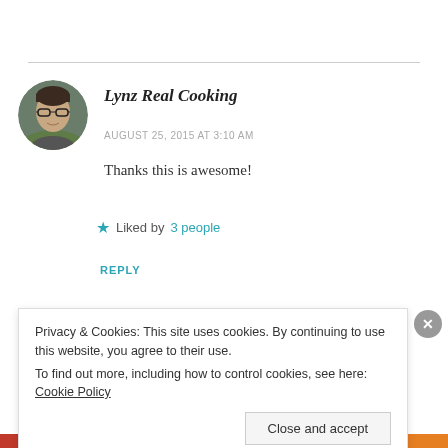[Figure (photo): Circular avatar photo of a woman with glasses and short dark hair, outdoors]
Lynz Real Cooking
AUGUST 25, 2015 AT 3:10 AM
Thanks this is awesome!
★ Liked by 3 people
REPLY
Privacy & Cookies: This site uses cookies. By continuing to use this website, you agree to their use.
To find out more, including how to control cookies, see here: Cookie Policy
Close and accept